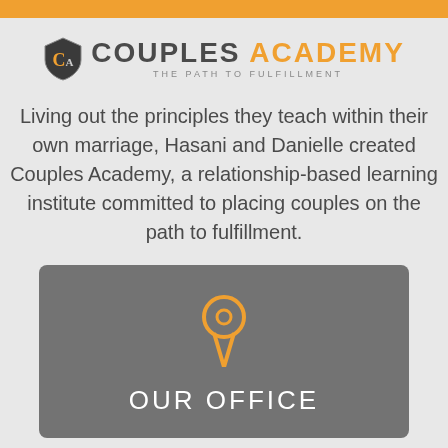[Figure (logo): Couples Academy logo with shield icon, text 'COUPLES ACADEMY' and tagline 'THE PATH TO FULFILLMENT']
Living out the principles they teach within their own marriage, Hasani and Danielle created Couples Academy, a relationship-based learning institute committed to placing couples on the path to fulfillment.
[Figure (infographic): Dark grey card with orange map pin / location icon and text 'OUR OFFICE']